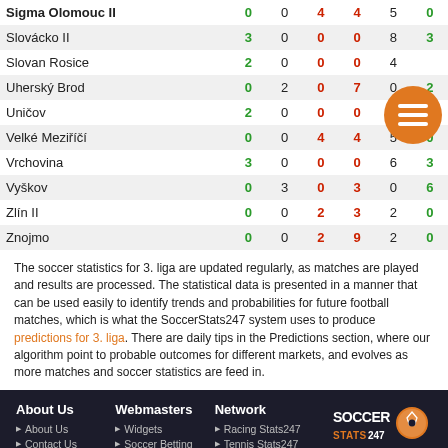| Team | Col1 | Col2 | Col3 | Col4 | Col5 | Col6 |
| --- | --- | --- | --- | --- | --- | --- |
| Sigma Olomouc II | 0 | 0 | 4 | 4 | 5 | 0 |
| Slovácko II | 3 | 0 | 0 | 0 | 8 | 3 |
| Slovan Rosice | 2 | 0 | 0 | 0 | 4 |  |
| Uherský Brod | 0 | 2 | 0 | 7 | 0 | 2 |
| Uničov | 2 | 0 | 0 | 0 | 2 | 3 |
| Velké Meziříčí | 0 | 0 | 4 | 4 | 5 | 0 |
| Vrchovina | 3 | 0 | 0 | 0 | 6 | 3 |
| Vyškov | 0 | 3 | 0 | 3 | 0 | 6 |
| Zlín II | 0 | 0 | 2 | 3 | 2 | 0 |
| Znojmo | 0 | 0 | 2 | 9 | 2 | 0 |
The soccer statistics for 3. liga are updated regularly, as matches are played and results are processed. The statistical data is presented in a manner that can be used easily to identify trends and probabilities for future football matches, which is what the SoccerStats247 system uses to produce predictions for 3. liga. There are daily tips in the Predictions section, where our algorithm point to probable outcomes for different markets, and evolves as more matches and soccer statistics are feed in.
About Us | Webmasters | Network | SoccerStats247 — All rights reserved Copyright © SoccerStats247 2022